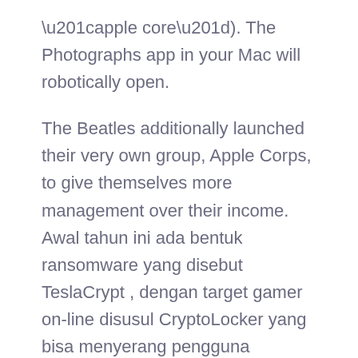“apple core”). The Photographs app in your Mac will robotically open.
The Beatles additionally launched their very own group, Apple Corps, to give themselves more management over their income. Awal tahun ini ada bentuk ransomware yang disebut TeslaCrypt , dengan target gamer on-line disusul CryptoLocker yang bisa menyerang pengguna Microsoft Home windows.
...
Read More